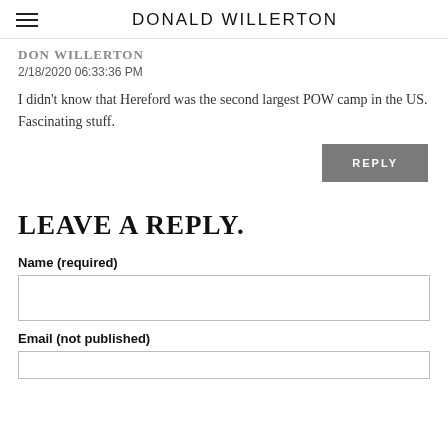DONALD WILLERTON
DON WILLERTON
2/18/2020 06:33:36 PM
I didn't know that Hereford was the second largest POW camp in the US. Fascinating stuff.
REPLY
LEAVE A REPLY.
Name (required)
Email (not published)